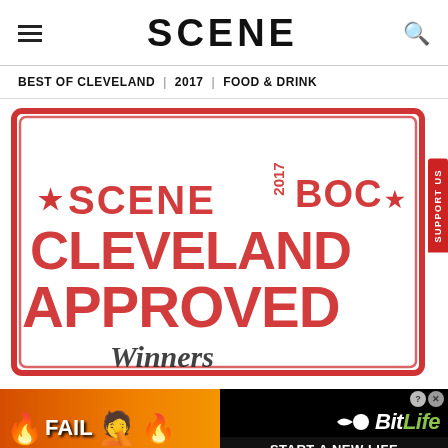SCENE
BEST OF CLEVELAND | 2017 | FOOD & DRINK
[Figure (logo): Scene 2017 Best of Cleveland stamp logo — red rubber-stamp style reading: SCENE 2017 BOC CLEVELAND APPROVED Winners]
[Figure (photo): BitLife advertisement banner: orange/fire background with FAIL text, facepalm emoji, fire emoji, BitLife logo, and START A NEW LIFE text]